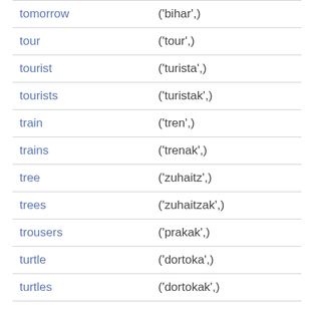| word | translation |
| --- | --- |
| tomorrow | ('bihar',) |
| tour | ('tour',) |
| tourist | ('turista',) |
| tourists | ('turistak',) |
| train | ('tren',) |
| trains | ('trenak',) |
| tree | ('zuhaitz',) |
| trees | ('zuhaitzak',) |
| trousers | ('prakak',) |
| turtle | ('dortoka',) |
| turtles | ('dortokak',) |